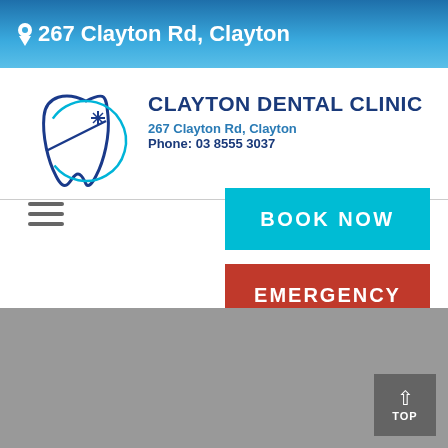267 Clayton Rd, Clayton
[Figure (logo): Clayton Dental Clinic logo with tooth and toothbrush graphic in blue and white]
CLAYTON DENTAL CLINIC
267 Clayton Rd, Clayton
Phone: 03 8555 3037
BOOK NOW
EMERGENCY
[Figure (other): Gray background section at bottom of page with TOP scroll button in bottom right corner]